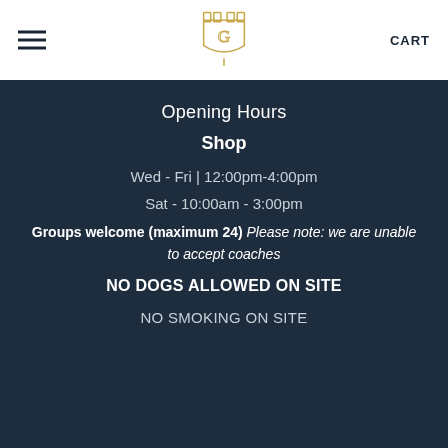[Figure (logo): Castle/shield logo with letter G in gold outline style]
CART
Opening Hours
Shop
Wed - Fri | 12:00pm-4:00pm
Sat - 10:00am - 3:00pm
Groups welcome (maximum 24) Please note: we are unable to accept coaches
NO DOGS ALLOWED ON SITE
NO SMOKING ON SITE